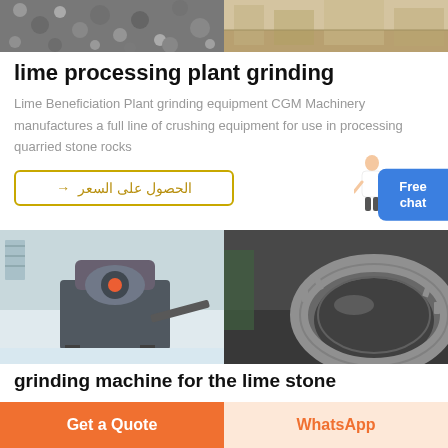[Figure (photo): Two side-by-side photos at top: left shows gravel/aggregate material, right shows factory/warehouse interior floor]
lime processing plant grinding
Lime Beneficiation Plant grinding equipment CGM Machinery manufactures a full line of crushing equipment for use in processing quarried stone rocks
[Figure (illustration): Arabic language button: الحصول على السعر with arrow, and Free chat button with customer service figure on right]
[Figure (photo): Two side-by-side photos: left shows VSI crusher machine in warehouse, right shows large metal grinding ring/wheel]
grinding machine for the lime stone
[Figure (other): Footer buttons: Get a Quote (orange) and WhatsApp (peach/light orange)]